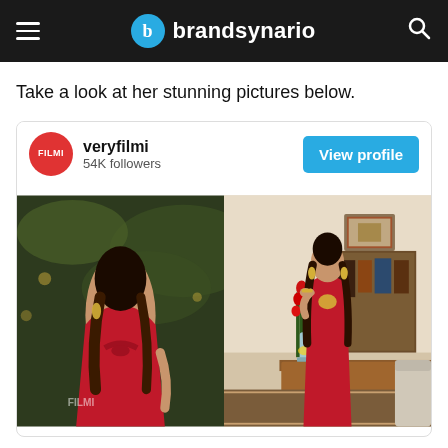brandsynario
Take a look at her stunning pictures below.
[Figure (screenshot): Instagram-style social card for veryfilmi with 54K followers and a View profile button, showing two side-by-side photos of a woman in a red dress]